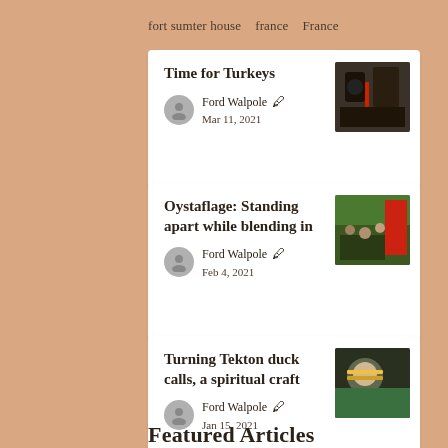fort sumter house   france   France
Time for Turkeys
Ford Walpole ✒ Mar 11, 2021
[Figure (photo): Photo of turkeys or dark birds]
Oystaflage: Standing apart while blending in
Ford Walpole ✒ Feb 4, 2021
[Figure (photo): Photo of people outdoors near red structure]
Turning Tekton duck calls, a spiritual craft
Ford Walpole ✒ Jan 15, 2021
[Figure (photo): Photo of person working on craft]
Featured Articles